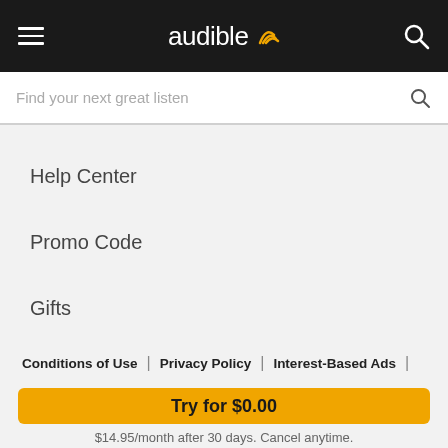[Figure (screenshot): Audible app navigation bar with hamburger menu, Audible logo, and search icon on dark background]
Find your next great listen
Help Center
Promo Code
Gifts
Conditions of Use | Privacy Policy | Interest-Based Ads |
Try for $0.00
$14.95/month after 30 days. Cancel anytime.